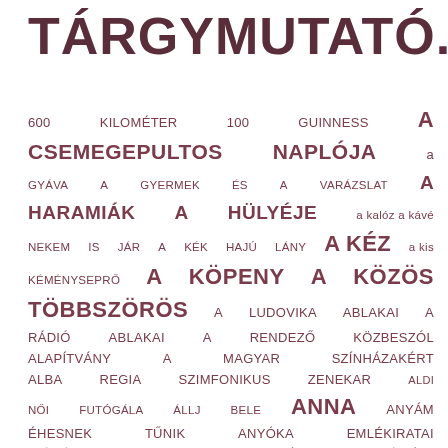TÁRGYMUTATÓ.
600 KILOMÉTER 100 GUINNESS A CSEMEGEPULTOS NAPLÓJA a GYÁVA A GYERMEK ÉS A VARÁZSLAT A HARAMIÁK A HÜLYÉJE a kalóz a kávé nekem is jár a kék hajú lány A KÉZ a kis kéményseprő A KÖPENY A KÖZÖS TÖBBSZÖRÖS A LUDOVIKA ABLAKAI A RÁDIÓ ABLAKAI A RENDEZŐ KÖZBESZÓL ALAPÍTVÁNY A MAGYAR SZÍNHÁZAKÉRT ALBA REGIA SZIMFONIKUS ZENEKAR ALDI NŐI FUTÓGÁLA ÁLLJ BELE ANNA ANYÁM ÉHESNEK TŰNIK ANYÓKA EMLÉKIRATAI